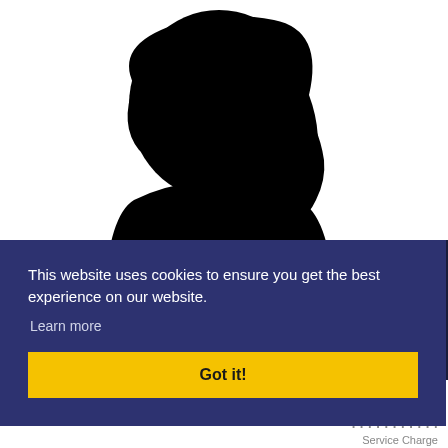[Figure (photo): Black silhouette of a person's head and shoulders against a white background, anonymous placeholder profile image.]
This website uses cookies to ensure you get the best experience on our website.
Learn more
Got it!
Service Charge